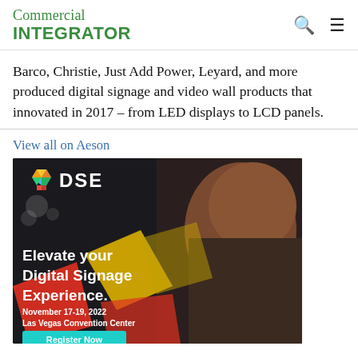Commercial INTEGRATOR
Barco, Christie, Just Add Power, Leyard, and more produced digital signage and video wall products that innovated in 2017 – from LED displays to LCD panels.
View all on Aeson
[Figure (photo): DSE advertisement banner: 'Elevate your Digital Signage Experience. November 17-19, 2022, Las Vegas Convention Center. Register Now.' Features a woman looking up, colorful geometric shapes, and DSE logo.]